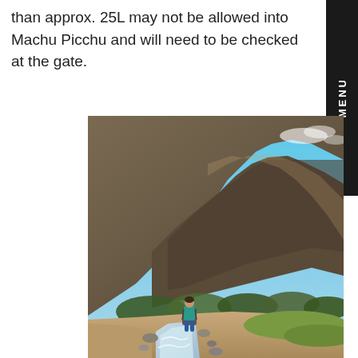than approx. 25L may not be allowed into Machu Picchu and will need to be checked at the gate.
[Figure (photo): A hiker with a backpack walking along a rocky stream trail with dramatic steep rocky mountains and bright blue sky in the background, likely on the Inca Trail near Machu Picchu, Peru.]